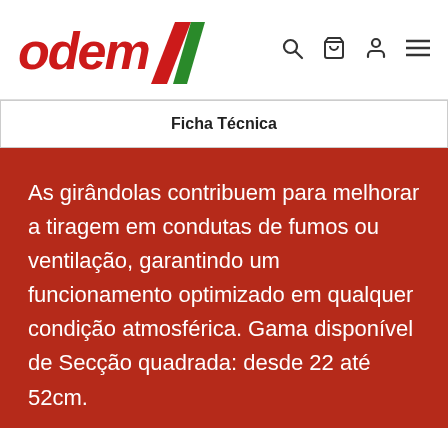[Figure (logo): ODEM logo with red text 'odem' and diagonal red/green stripes slash mark]
Ficha Técnica
As girândolas contribuem para melhorar a tiragem em condutas de fumos ou ventilação, garantindo um funcionamento optimizado em qualquer condição atmosférica. Gama disponível de Secção quadrada: desde 22 até 52cm.